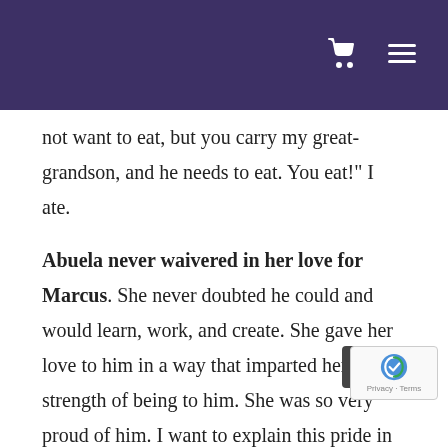not want to eat, but you carry my great-grandson, and he needs to eat. You eat!" I ate.
Abuela never waivered in her love for Marcus. She never doubted he could and would learn, work, and create. She gave her love to him in a way that imparted her own strength of being to him. She was so very proud of him. I want to explain this pride in fancy words, but they are out of reach. Her pride came not from what he could do, not for how he looked, or didn't, or said, or didn't, she was proud of who he was.